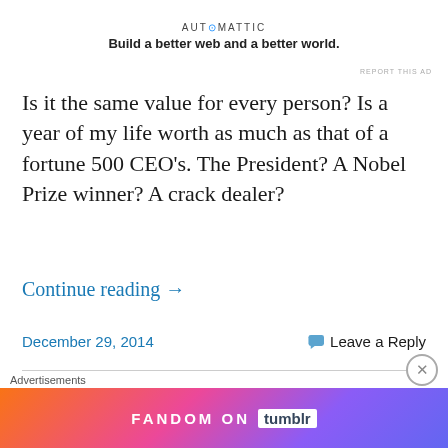[Figure (logo): Automattic logo with tagline: Build a better web and a better world.]
REPORT THIS AD
Is it the same value for every person? Is a year of my life worth as much as that of a fortune 500 CEO's. The President? A Nobel Prize winner? A crack dealer?
Continue reading →
December 29, 2014
Leave a Reply
Congratulations Sarah Koenig
[Figure (screenshot): SERIAL logo image in black with red text]
Advertisements
[Figure (infographic): Fandom on Tumblr advertisement banner with colorful gradient background]